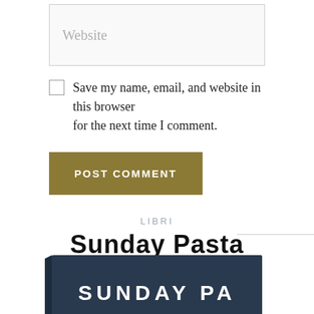[Figure (screenshot): Website input field (form element placeholder)]
Save my name, email, and website in this browser for the next time I comment.
POST COMMENT
LIBRI
Sunday Pasta Book
[Figure (photo): Partial view of Sunday Pasta Book cover, dark blue with white text reading SUNDAY PA...]